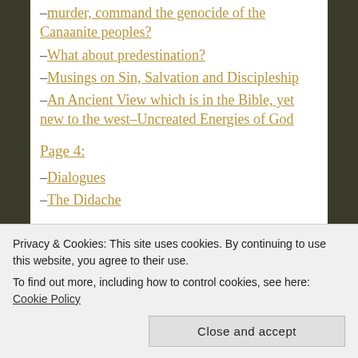–murder, command the genocide of the Canaanite peoples?
–What about predestination?
–Musings on Sin, Salvation and Discipleship
–An Ancient View which is in the Bible, yet new to the west–Uncreated Energies of God
Page 4:
–Dialogues
–The Didache
Privacy & Cookies: This site uses cookies. By continuing to use this website, you agree to their use. To find out more, including how to control cookies, see here: Cookie Policy
–Does the Pill cause abortions, or is that